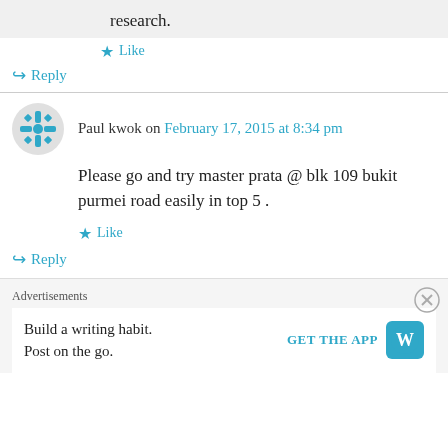research.
★ Like
↪ Reply
Paul kwok on February 17, 2015 at 8:34 pm
Please go and try master prata @ blk 109 bukit purmei road easily in top 5 .
★ Like
↪ Reply
Advertisements
Build a writing habit. Post on the go.
GET THE APP